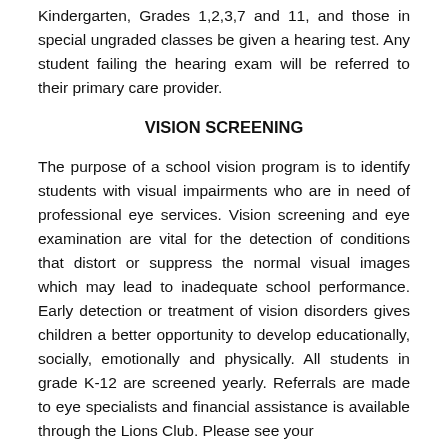Kindergarten, Grades 1,2,3,7 and 11, and those in special ungraded classes be given a hearing test. Any student failing the hearing exam will be referred to their primary care provider.
VISION SCREENING
The purpose of a school vision program is to identify students with visual impairments who are in need of professional eye services. Vision screening and eye examination are vital for the detection of conditions that distort or suppress the normal visual images which may lead to inadequate school performance. Early detection or treatment of vision disorders gives children a better opportunity to develop educationally, socially, emotionally and physically. All students in grade K-12 are screened yearly. Referrals are made to eye specialists and financial assistance is available through the Lions Club. Please see your